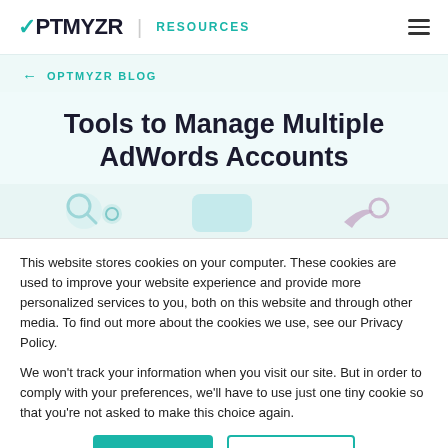OPTMYZR | RESOURCES
← OPTMYZR BLOG
Tools to Manage Multiple AdWords Accounts
[Figure (illustration): Partial illustration strip showing icons related to AdWords/search tools]
This website stores cookies on your computer. These cookies are used to improve your website experience and provide more personalized services to you, both on this website and through other media. To find out more about the cookies we use, see our Privacy Policy.
We won't track your information when you visit our site. But in order to comply with your preferences, we'll have to use just one tiny cookie so that you're not asked to make this choice again.